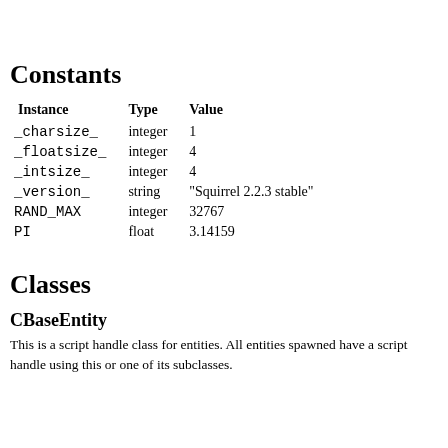Constants
| Instance | Type | Value |
| --- | --- | --- |
| _charsize_ | integer | 1 |
| _floatsize_ | integer | 4 |
| _intsize_ | integer | 4 |
| _version_ | string | "Squirrel 2.2.3 stable" |
| RAND_MAX | integer | 32767 |
| PI | float | 3.14159 |
Classes
CBaseEntity
This is a script handle class for entities. All entities spawned have a script handle using this or one of its subclasses.